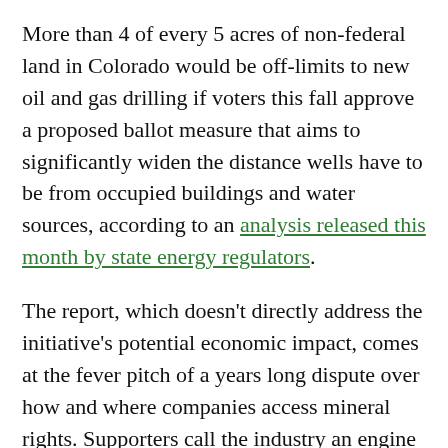More than 4 of every 5 acres of non-federal land in Colorado would be off-limits to new oil and gas drilling if voters this fall approve a proposed ballot measure that aims to significantly widen the distance wells have to be from occupied buildings and water sources, according to an analysis released this month by state energy regulators.
The report, which doesn’t directly address the initiative’s potential economic impact, comes at the fever pitch of a years long dispute over how and where companies access mineral rights. Supporters call the industry an engine of economic growth, whereas critics point to the fading gap between extraction sites and fast-expanding neighborhoods.
Initiative 97 would establish the minimum setback for oil...